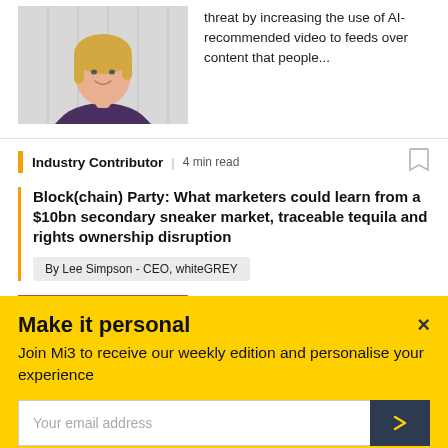[Figure (photo): Headshot of a blonde woman smiling, wearing a plaid shirt, against a white background]
threat by increasing the use of AI-recommended video to feeds over content that people...
Industry Contributor | 4 min read
Block(chain) Party: What marketers could learn from a $10bn secondary sneaker market, traceable tequila and rights ownership disruption
By Lee Simpson - CEO, whiteGREY
[Figure (photo): Partial image of a wooden surface, bottom of article thumbnail]
Blockchain has hurdles to clear
Make it personal
Join Mi3 to receive our weekly edition and personalise your experience
Your email address